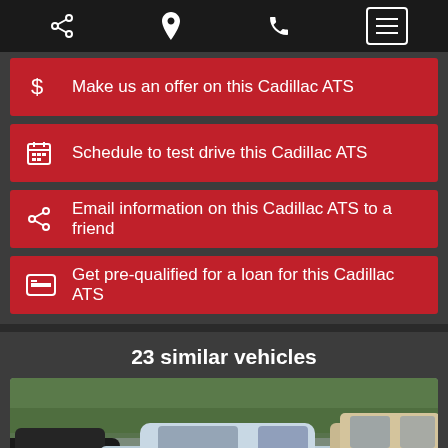[Figure (screenshot): Mobile website navigation bar with share, location, phone, and menu icons on dark background]
Make us an offer on this Cadillac ATS
Schedule to test drive this Cadillac ATS
Email information on this Cadillac ATS to a friend
Get pre-qualified for a loan for this Cadillac ATS
23 similar vehicles
[Figure (photo): Photo of a silver/light blue sedan car surrounded by other vehicles in a parking lot]